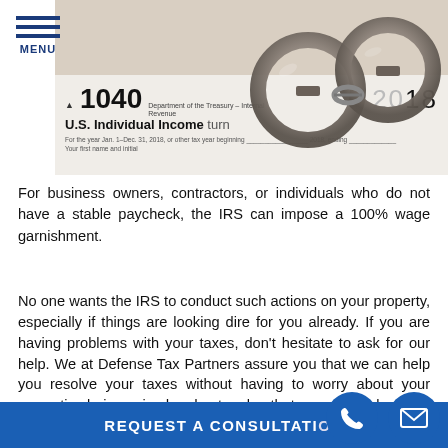MENU
[Figure (photo): IRS Form 1040 U.S. Individual Income Tax Return 2018 with handcuffs on top of it]
For business owners, contractors, or individuals who do not have a stable paycheck, the IRS can impose a 100% wage garnishment.
No one wants the IRS to conduct such actions on your property, especially if things are looking dire for you already. If you are having problems with your taxes, don't hesitate to ask for our help. We at Defense Tax Partners assure you that we can help you resolve your taxes without having to worry about your properties being seized and get a plan that you can stick with to settle your taxes.
REQUEST A CONSULTATION